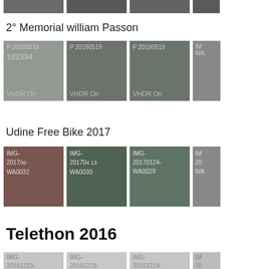[Figure (photo): Row of cropped photo thumbnails at top of page, partially visible]
2° Memorial william Passon
[Figure (photo): Photo thumbnail: P 20180519 182334 VHDR On]
[Figure (photo): Photo thumbnail: P 20180519 VHDR On - group of people outdoors]
[Figure (photo): Photo thumbnail: P 20180519 VHDR On - group of people outdoors]
[Figure (photo): Photo thumbnail: partially visible IM...]
Udine Free Bike 2017
[Figure (photo): Photo thumbnail: IMG- 2017...-WA0032]
[Figure (photo): Photo thumbnail: IMG- 20170...-WA0030]
[Figure (photo): Photo thumbnail: IMG-20170124-WA0029]
[Figure (photo): Photo thumbnail: partially visible IM... 20... WA...]
Telethon 2016
[Figure (photo): Photo thumbnail: IMG-20161219-...]
[Figure (photo): Photo thumbnail: IMG-20161219-...]
[Figure (photo): Photo thumbnail: IMG-20161219-...]
[Figure (photo): Photo thumbnail: partially visible IM... 20...]